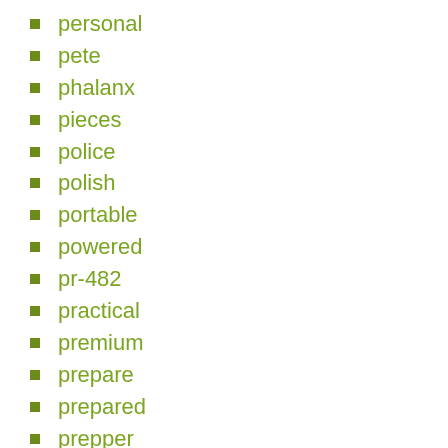personal
pete
phalanx
pieces
police
polish
portable
powered
pr-482
practical
premium
prepare
prepared
prepper
preppers
prepping
protect
protective
pure
quantity